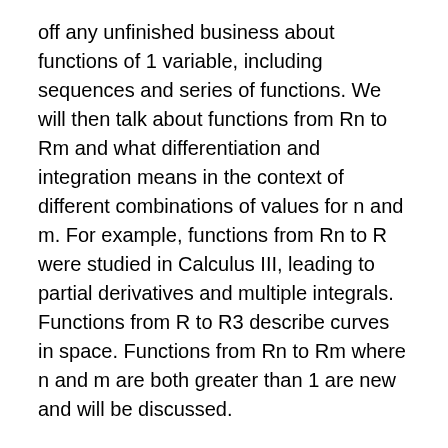off any unfinished business about functions of 1 variable, including sequences and series of functions. We will then talk about functions from Rn to Rm and what differentiation and integration means in the context of different combinations of values for n and m. For example, functions from Rn to R were studied in Calculus III, leading to partial derivatives and multiple integrals. Functions from R to R3 describe curves in space. Functions from Rn to Rm where n and m are both greater than 1 are new and will be discussed.
Prerequisites: MA 351 and MA 421
This course is required for the Pure Mathematics Concentrations; it may be used for the Statistics, Secondary Education and General Program Concentrations. This course is offered in the Spring